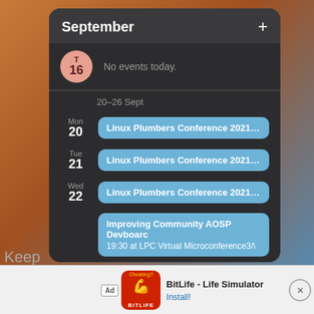[Figure (screenshot): A dark-themed calendar widget showing September events. Today is T 16 with no events. Week of 20-26 Sept shows three days: Mon 20, Tue 21, Wed 22 each with 'Linux Plumbers Conference 2021 Virtu' event pills. Wed 22 also has 'Improving Community AOSP Devboarc' with subtitle '19:30 at LPC Virtual Microconference3/\'.]
No events today.
20–26 Sept
Linux Plumbers Conference 2021 Virtu
Linux Plumbers Conference 2021 Virtu
Linux Plumbers Conference 2021 Virtu
Improving Community AOSP Devboarc
19:30 at LPC Virtual Microconference3/\
[Figure (screenshot): Advertisement banner for BitLife - Life Simulator app with Ad badge, app icon (red background with sperm symbol and BITLIFE text), app name, and Install button. A close X button on the right. Background shows partially visible text 'Keep' and 'Lilipu'.]